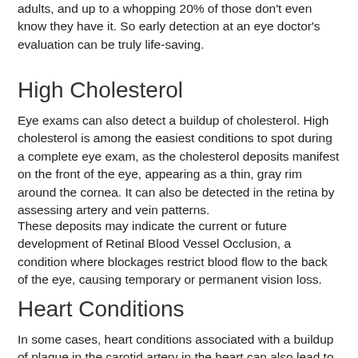adults, and up to a whopping 20% of those don't even know they have it. So early detection at an eye doctor's evaluation can be truly life-saving.
High Cholesterol
Eye exams can also detect a buildup of cholesterol. High cholesterol is among the easiest conditions to spot during a complete eye exam, as the cholesterol deposits manifest on the front of the eye, appearing as a thin, gray rim around the cornea. It can also be detected in the retina by assessing artery and vein patterns.
These deposits may indicate the current or future development of Retinal Blood Vessel Occlusion, a condition where blockages restrict blood flow to the back of the eye, causing temporary or permanent vision loss.
Heart Conditions
In some cases, heart conditions associated with a buildup of plaque in the carotid artery in the heart can also lead to deposits that show the eye doctor signs in the eye of current or restricted b...